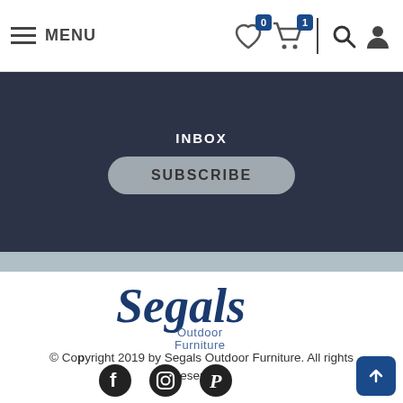MENU | Wishlist 0 | Cart 1 | Search | Account
INBOX
SUBSCRIBE
[Figure (logo): Segals Outdoor Furniture logo in dark blue script font]
© Copyright 2019 by Segals Outdoor Furniture. All rights reserved. ABN: 92 833 831 556